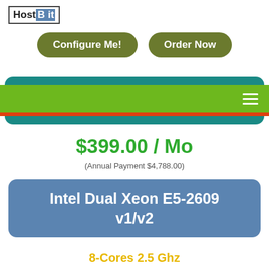[Figure (logo): HostBit logo with box border]
[Figure (other): Two rounded rectangle buttons: 'Configure Me!' and 'Order Now' in olive/dark green]
[Figure (other): Navigation bar with teal rounded top, green bar with hamburger menu icon, red stripe, teal rounded bottom]
$399.00 / Mo
(Annual Payment $4,788.00)
Intel Dual Xeon E5-2609 v1/v2
8-Cores 2.5 Ghz
32.00 GB Memory (RAM)
2 X 2 TB HDD or 2 X 240 GB